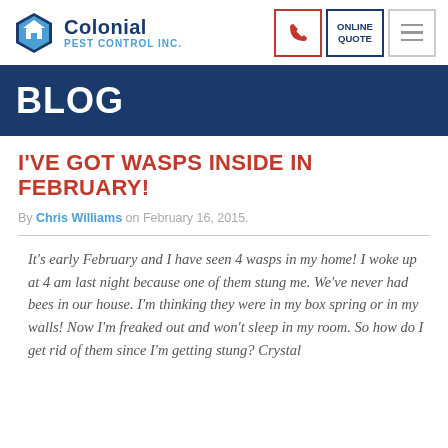Colonial Pest Control Inc.
BLOG
I'VE GOT WASPS INSIDE IN FEBRUARY!
By Chris Williams on February 16, 2015.
It's early February and I have seen 4 wasps in my home! I woke up at 4 am last night because one of them stung me. We've never had bees in our house. I'm thinking they were in my box spring or in my walls! Now I'm freaked out and won't sleep in my room. So how do I get rid of them since I'm getting stung? Crystal